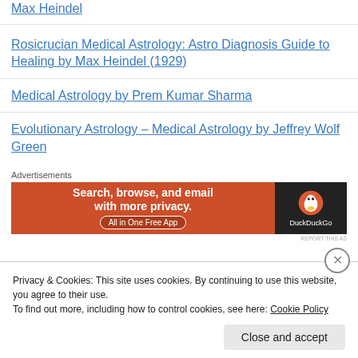Max Heindel
Rosicrucian Medical Astrology: Astro Diagnosis Guide to Healing by Max Heindel (1929)
Medical Astrology by Prem Kumar Sharma
Evolutionary Astrology – Medical Astrology by Jeffrey Wolf Green
Advertisements
[Figure (other): DuckDuckGo advertisement banner: Search, browse, and email with more privacy. All in One Free App.]
REPORT THIS AS
Privacy & Cookies: This site uses cookies. By continuing to use this website, you agree to their use.
To find out more, including how to control cookies, see here: Cookie Policy
Close and accept